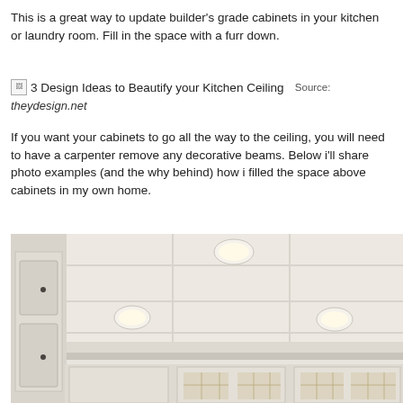This is a great way to update builder's grade cabinets in your kitchen or laundry room. Fill in the space with a furr down.
3 Design Ideas to Beautify your Kitchen Ceiling  Source: theydesign.net
If you want your cabinets to go all the way to the ceiling, you will need to have a carpenter remove any decorative beams. Below i'll share photo examples (and the why behind) how i filled the space above cabinets in my own home.
[Figure (photo): Interior kitchen photo showing white cabinets extending to the ceiling with a coffered ceiling design featuring recessed lighting.]